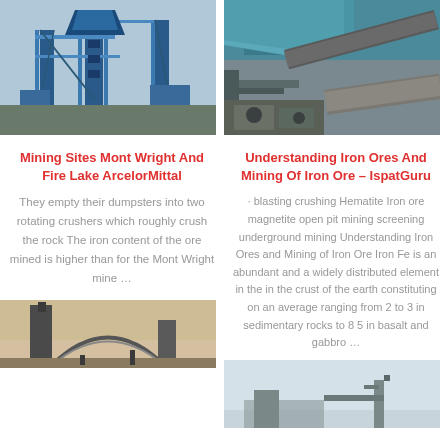[Figure (photo): Industrial mining structure with blue crane/tower equipment]
[Figure (photo): Close-up of iron ore mining machinery/conveyor equipment]
Mining Sites Mont Wright And Fire Lake ArcelorMittal
Understanding Iron Ores And Mining Of Iron Ore – IspatGuru
They empty their dumpsters into two rotating crushers which roughly crush the rock The iron content of the ore mined is higher than for the Mont Wright mine …
· blasting crushing Hematite Iron ore magnetite open pit mining screening underground mining Understanding Iron Ores and Mining of Iron Ore Iron Fe is an abundant and a widely distributed element in the in the crust of the earth constituting on an average ranging from 2 to 3 in sedimentary rocks to 8 5 in basalt and gabbro …
[Figure (photo): Mining structure with chimney against warm sky]
[Figure (photo): Outdoor mining site with sky background]